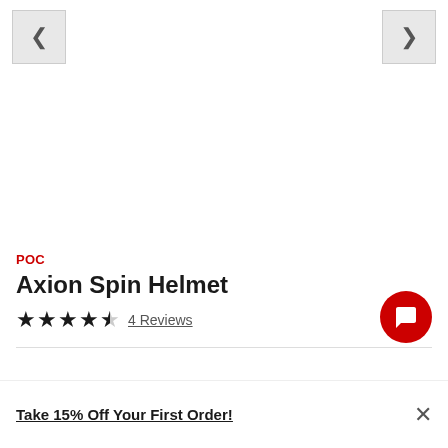[Figure (screenshot): Left navigation arrow button (chevron left) in a light gray square button]
[Figure (screenshot): Right navigation arrow button (chevron right) in a light gray square button]
POC
Axion Spin Helmet
★★★★☆ 4 Reviews
[Figure (other): Red circular chat/message button with speech bubble icon]
Take 15% Off Your First Order!